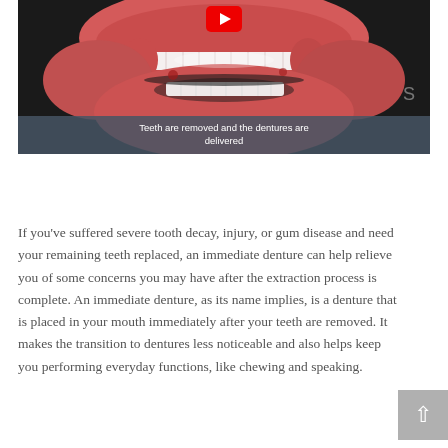[Figure (screenshot): A YouTube video thumbnail/player showing a 3D animated dental model (dentures/gum model) with upper and lower jaw. A red YouTube play button is visible at the top center. A subtitle bar at the bottom reads: 'Teeth are removed and the dentures are delivered'.]
Teeth are removed and the dentures are delivered
If you've suffered severe tooth decay, injury, or gum disease and need your remaining teeth replaced, an immediate denture can help relieve you of some concerns you may have after the extraction process is complete. An immediate denture, as its name implies, is a denture that is placed in your mouth immediately after your teeth are removed. It makes the transition to dentures less noticeable and also helps keep you performing everyday functions, like chewing and speaking.